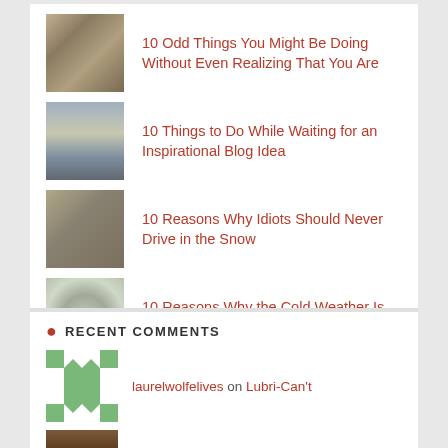10 Odd Things You Might Be Doing Without Even Realizing That You Are
10 Things to Do While Waiting for an Inspirational Blog Idea
10 Reasons Why Idiots Should Never Drive in the Snow
10 Reasons Why the Cold Weather Is No Longer My Friend
20 Self-Help Books That Somebody Really, Really Needs To Write
RECENT COMMENTS
laurelwolfelives on Lubri-Can't